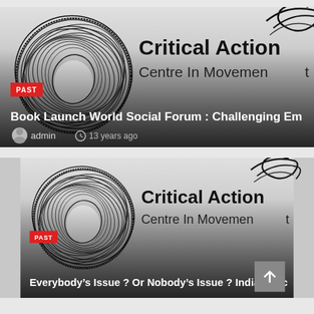[Figure (screenshot): Card with spiral circle logo on left, 'Critical Action Centre In Movement' text on right, PAST badge, title 'Book Launch World Social Forum : Challenging Em', meta: admin, 13 years ago]
[Figure (screenshot): Card with spiral circle logo on left, 'Critical Action Centre In Movement' text on right, PAST badge, title 'Everybody's Issue ? Or Nobody's Issue ? Indian Soc', scroll-to-top button visible]